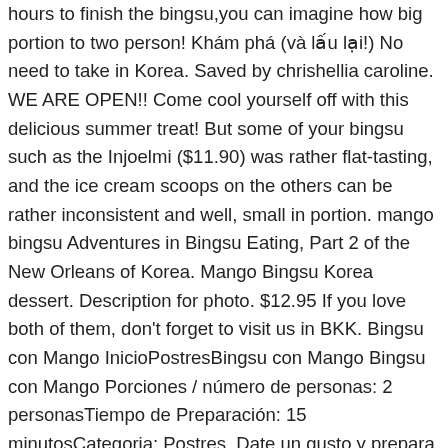hours to finish the bingsu,you can imagine how big portion to two person! Khám phá (và lấu lại!) No need to take in Korea. Saved by chrishellia caroline. WE ARE OPEN!! Come cool yourself off with this delicious summer treat! But some of your bingsu such as the Injoelmi ($11.90) was rather flat-tasting, and the ice cream scoops on the others can be rather inconsistent and well, small in portion. mango bingsu Adventures in Bingsu Eating, Part 2 of the New Orleans of Korea. Mango Bingsu Korea dessert. Description for photo. $12.95 If you love both of them, don't forget to visit us in BKK. Bingsu con Mango InicioPostresBingsu con Mango Bingsu con Mango Porciones / número de personas: 2 personasTiempo de Preparación: 15 minutosCategoria: Postres. Date un gusto y prepara esta deliciosa receta de Bingsu de fresa. Mango bingsu - download this royalty free Stock Photo in seconds. The best tasting bingsu is definitely the Mango Berry Cheesecake ($18.80). Disfruta y diviértete aprendiendo como hacer esta delicia coreana, especialmente en dias de verano desde la comodidad de tu cocina. El favorito de los coreanos, el bingsu de injeoulmi es el más coreano de todos